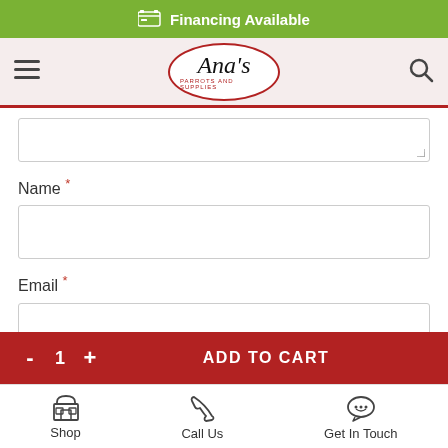Financing Available
[Figure (logo): Ana's Parrots and Supplies oval logo with script font]
Name *
Email *
Save my name, email, and website in this browser for next time I comment.
- 1 + ADD TO CART | Shop | Call Us | Get In Touch